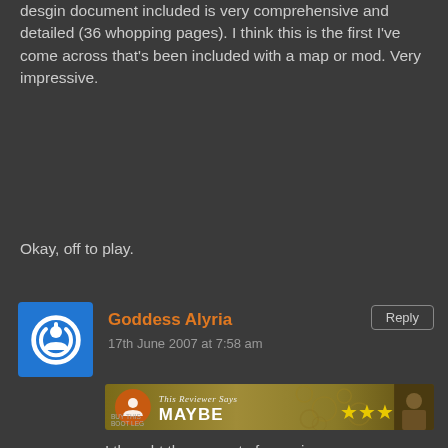desgin document included is very comprehensive and detailed (36 whopping pages). I think this is the first I've come across that's been included with a map or mod. Very impressive.
Okay, off to play.
Goddess Alyria
17th June 2007 at 7:58 am
[Figure (other): Reviewer badge showing 'This Reviewer Says MAYBE' with 3 stars on a gold/brown background]
I thought the amount of enemies was very challenging. With the first dispatch, I felt there were too many but after I got my bearings, I didn't feel that way at all.
The